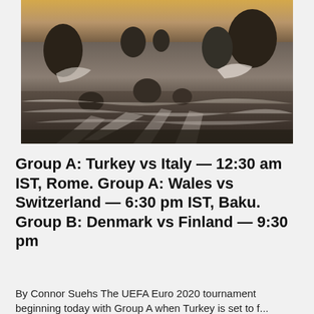[Figure (photo): Coastal rocky beach scene with waves washing over dark rocks and sand, dramatic sky with warm golden light on the horizon.]
Group A: Turkey vs Italy — 12:30 am IST, Rome. Group A: Wales vs Switzerland — 6:30 pm IST, Baku. Group B: Denmark vs Finland — 9:30 pm
By Connor Suehs The UEFA Euro 2020 tournament beginning today with Group A when Turkey is set to f...